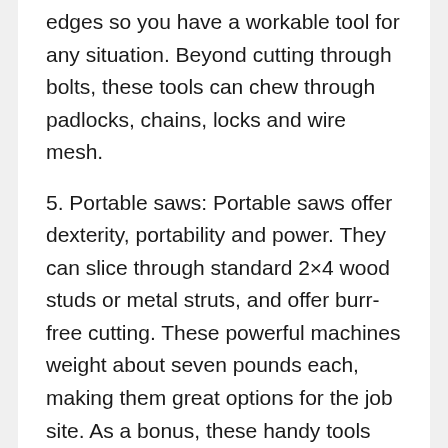edges so you have a workable tool for any situation. Beyond cutting through bolts, these tools can chew through padlocks, chains, locks and wire mesh.
5. Portable saws: Portable saws offer dexterity, portability and power. They can slice through standard 2×4 wood studs or metal struts, and offer burr-free cutting. These powerful machines weight about seven pounds each, making them great options for the job site. As a bonus, these handy tools end up being useful around the house, as well. If you need to cut a piece of wood, rebar, or EMT conduit, a portable saw is a quick and easy solution to get the job done.